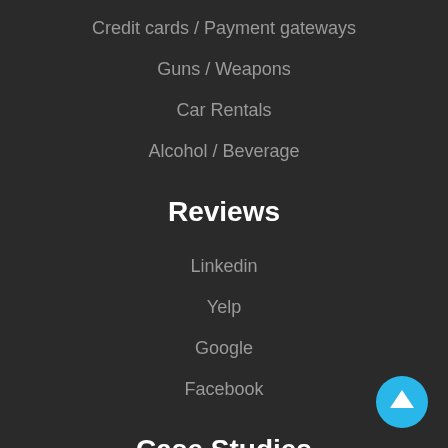Credit cards / Payment gateways
Guns / Weapons
Car Rentals
Alcohol / Beverage
Reviews
Linkedin
Yelp
Google
Facebook
Case Studies
[Figure (illustration): Blue circular scroll-to-top button with upward arrow icon]